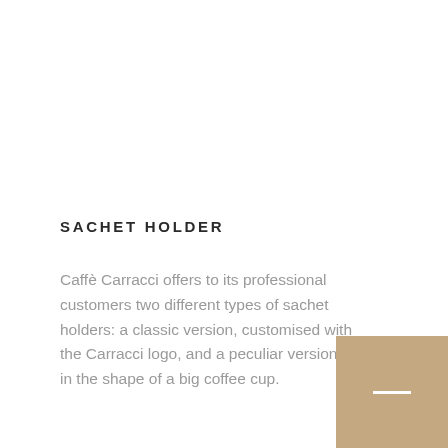SACHET HOLDER
Caffè Carracci offers to its professional customers two different types of sachet holders: a classic version, customised with the Carracci logo, and a peculiar version, in the shape of a big coffee cup.
[Figure (other): A beige/tan colored square box with a white horizontal dash/line centered on it, positioned in the bottom-right corner of the page.]